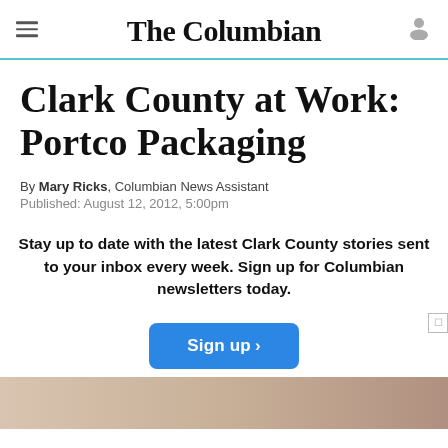The Columbian
Clark County at Work: Portco Packaging
By Mary Ricks, Columbian News Assistant
Published: August 12, 2012, 5:00pm
Stay up to date with the latest Clark County stories sent to your inbox every week. Sign up for Columbian newsletters today.
[Figure (other): Sign up button and partial article image strip at bottom]